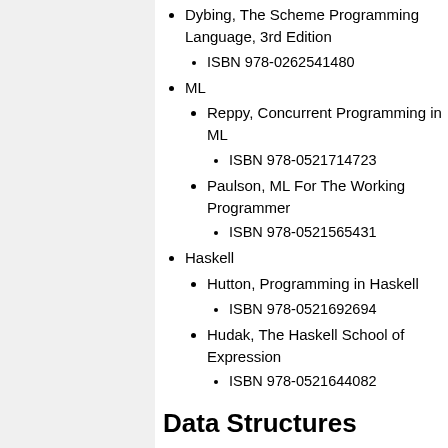Dybing, The Scheme Programming Language, 3rd Edition
ISBN 978-0262541480
ML
Reppy, Concurrent Programming in ML
ISBN 978-0521714723
Paulson, ML For The Working Programmer
ISBN 978-0521565431
Haskell
Hutton, Programming in Haskell
ISBN 978-0521692694
Hudak, The Haskell School of Expression
ISBN 978-0521644082
Data Structures